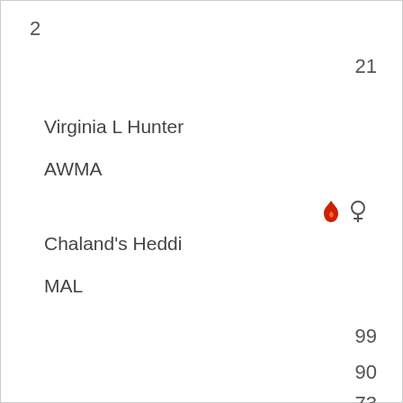2
21
Virginia L Hunter
AWMA
♦ ♀
Chaland's Heddi
MAL
99
90
73